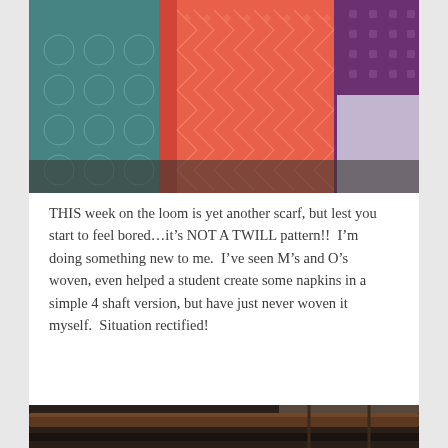[Figure (photo): Close-up photograph of woven textiles: a teal/blue patterned fabric on the left, a coral/salmon colored woven scarf with geometric pattern in the center, and a purple/dark woven fabric on the right corner. Yellow fringe is visible on the edge of the coral fabric.]
THIS week on the loom is yet another scarf, but lest you start to feel bored…it's NOT A TWILL pattern!!  I'm doing something new to me.  I've seen M's and O's woven, even helped a student create some napkins in a simple 4 shaft version, but have just never woven it myself.  Situation rectified!
[Figure (photo): Partial photograph of a loom, showing dark wooden beams and metal parts at the bottom of the page.]